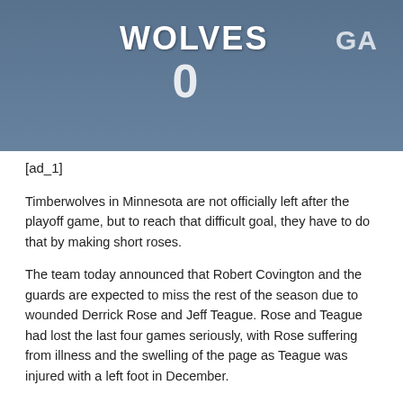[Figure (photo): Photo of Minnesota Timberwolves players in white jerseys reading 'WOLVES' with blue accents, group scene]
[ad_1]
Timberwolves in Minnesota are not officially left after the playoff game, but to reach that difficult goal, they have to do that by making short roses.
The team today announced that Robert Covington and the guards are expected to miss the rest of the season due to wounded Derrick Rose and Jeff Teague. Rose and Teague had lost the last four games seriously, with Rose suffering from illness and the swelling of the page as Teague was injured with a left foot in December.
MRI appeared of an elbow of Rose as a slice and a dispersed body break into the elbow. He and the team are investigating further treatment options. As for Teague, he got a pour on